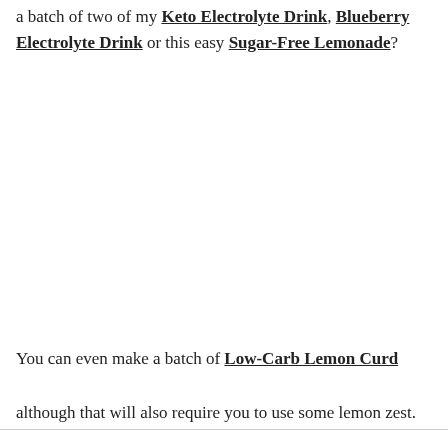a batch of two of my Keto Electrolyte Drink, Blueberry Electrolyte Drink or this easy Sugar-Free Lemonade?
You can even make a batch of Low-Carb Lemon Curd
although that will also require you to use some lemon zest.